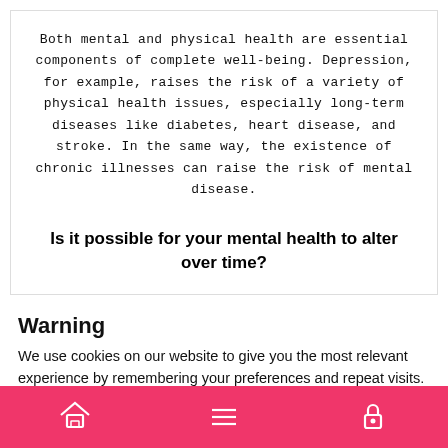Both mental and physical health are essential components of complete well-being. Depression, for example, raises the risk of a variety of physical health issues, especially long-term diseases like diabetes, heart disease, and stroke. In the same way, the existence of chronic illnesses can raise the risk of mental disease.
Is it possible for your mental health to alter over time?
Warning
We use cookies on our website to give you the most relevant experience by remembering your preferences and repeat visits. By clicking “Accept”, you consent to the use of ALL the cookies.
Do not sell my personal information.
Navigation bar with home, menu, and lock icons